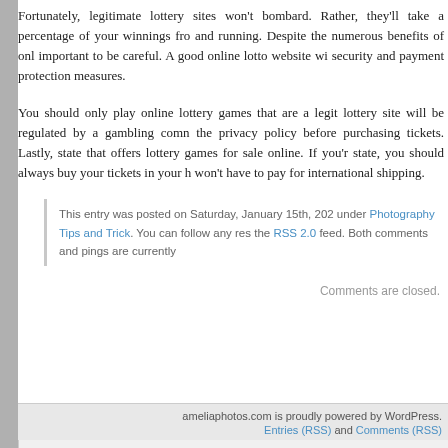Fortunately, legitimate lottery sites won't bombard. Rather, they'll take a percentage of your winnings fro and running. Despite the numerous benefits of onl important to be careful. A good online lotto website wi security and payment protection measures.
You should only play online lottery games that are a legit lottery site will be regulated by a gambling comn the privacy policy before purchasing tickets. Lastly, state that offers lottery games for sale online. If you'r state, you should always buy your tickets in your h won't have to pay for international shipping.
This entry was posted on Saturday, January 15th, 202 under Photography Tips and Trick. You can follow any res the RSS 2.0 feed. Both comments and pings are currently
Comments are closed.
ameliaphotos.com is proudly powered by WordPress. Entries (RSS) and Comments (RSS)